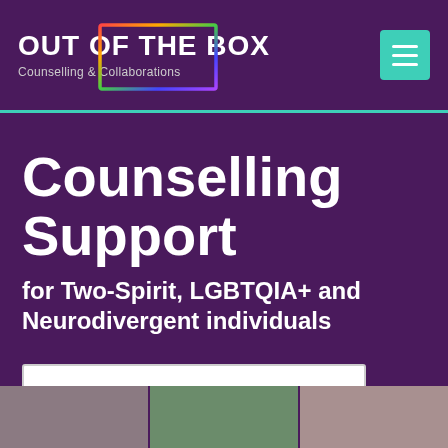[Figure (logo): Out of the Box Counselling & Collaborations logo with rainbow-outlined box graphic]
Counselling Support
for Two-Spirit, LGBTQIA+ and Neurodivergent individuals
Book an Appointment
[Figure (photo): Bottom strip showing partial photos of people]